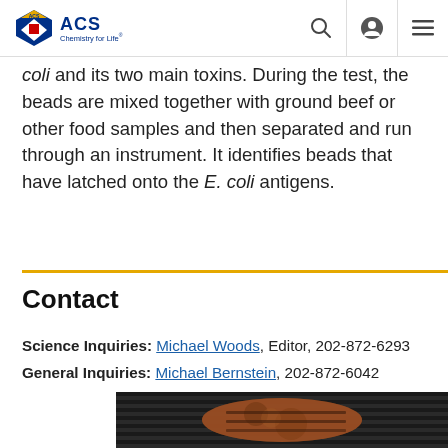ACS Chemistry for Life
coli and its two main toxins. During the test, the beads are mixed together with ground beef or other food samples and then separated and run through an instrument. It identifies beads that have latched onto the E. coli antigens.
Contact
Science Inquiries: Michael Woods, Editor, 202-872-6293
General Inquiries: Michael Bernstein, 202-872-6042
[Figure (photo): Grilled beef patties on a grill]